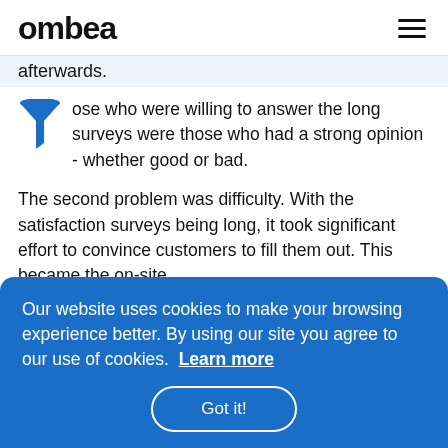ombea
afterwards.
ose who were willing to answer the long surveys were those who had a strong opinion - whether good or bad.
The second problem was difficulty. With the satisfaction surveys being long, it took significant effort to convince customers to fill them out. This became the on-site
hedule
run.
Our website uses cookies to make your browsing experience better. By using our site you agree to our use of cookies.  Learn more
Got it!